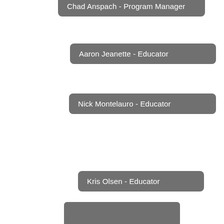[Figure (organizational-chart): Partial organizational chart showing personnel nodes: Chad Anspach - Program Manager (top, partially cropped), Aaron Jeanette - Educator, Nick Montelauro - Educator, Kris Olsen - Educator, and a partially visible node at the bottom.]